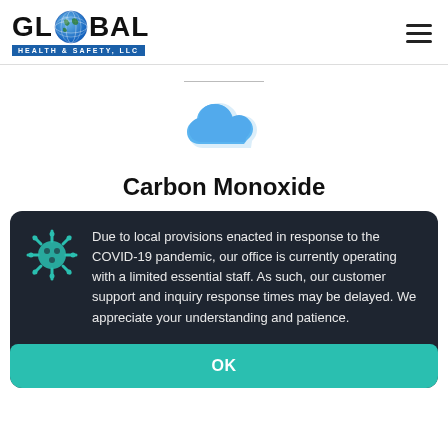GLOBAL HEALTH & SAFETY, LLC
[Figure (illustration): Blue cloud icon centered on white background]
Carbon Monoxide
Due to local provisions enacted in response to the COVID-19 pandemic, our office is currently operating with a limited essential staff. As such, our customer support and inquiry response times may be delayed. We appreciate your understanding and patience.
OK